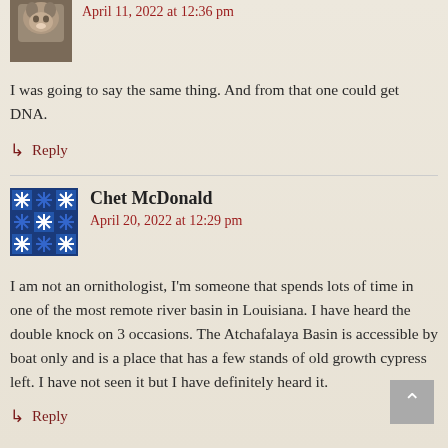[Figure (photo): Small avatar photo of a cow/animal, brown tones]
April 11, 2022 at 12:36 pm
I was going to say the same thing. And from that one could get DNA.
Reply
[Figure (illustration): Blue and white quilt pattern square avatar for Chet McDonald]
Chet McDonald
April 20, 2022 at 12:29 pm
I am not an ornithologist, I'm someone that spends lots of time in one of the most remote river basin in Louisiana. I have heard the double knock on 3 occasions. The Atchafalaya Basin is accessible by boat only and is a place that has a few stands of old growth cypress left. I have not seen it but I have definitely heard it.
Reply